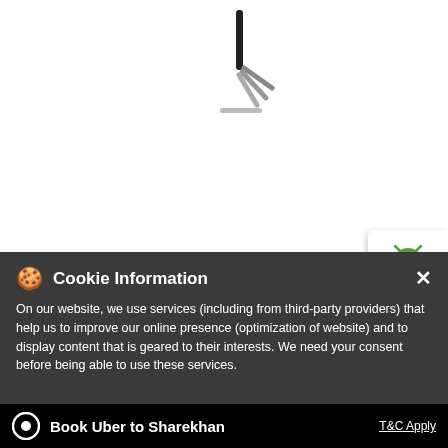[Figure (screenshot): Loading spinner (spinning indicator lines) on white background]
[Figure (screenshot): App store buttons: Android (green robot icon) and Apple (apple icon) on white card panel]
Cookie Information
On our website, we use services (including from third-party providers) that help us to improve our online presence (optimization of website) and to display content that is geared to their interests. We need your consent before being able to use these services.
Book Uber to Sharekhan
T&C Apply